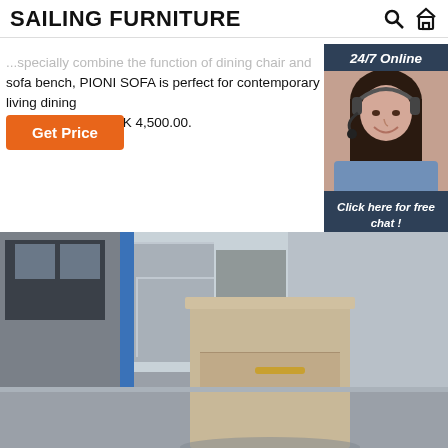SAILING FURNITURE
...specially combine the function of dining chair and sofa bench, PIONI SOFA is perfect for contemporary living dining combo... MULTI - HK 4,500.00.
Get Price
[Figure (photo): 24/7 online chat widget showing a female customer service agent wearing a headset, with 'Click here for free chat!' text and a QUOTATION button]
[Figure (photo): Warehouse/showroom photo featuring a beige bedside table with a drawer and gold handle, set against a warehouse background with blue pillar and concrete panels]